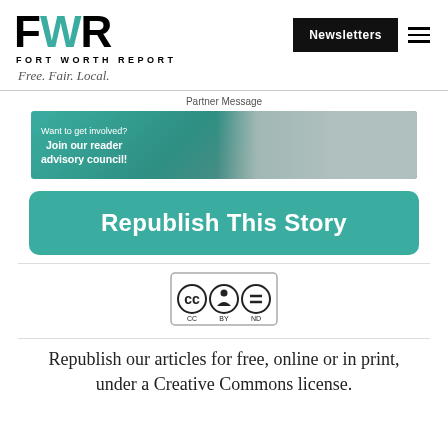[Figure (logo): Fort Worth Report logo with FWR letters and tagline 'Free. Fair. Local.']
Newsletters
Partner Message
[Figure (photo): Advertisement banner: 'Want to get involved? Join our reader advisory council!' with group photo and 'Apply here' button]
Republish This Story
[Figure (logo): Creative Commons BY-ND license badge]
Republish our articles for free, online or in print, under a Creative Commons license.